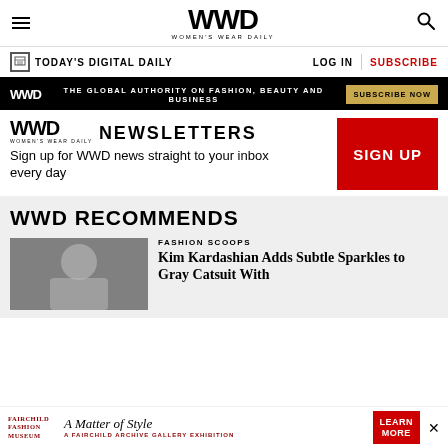WWD — Women's Wear Daily
TODAY'S DIGITAL DAILY   LOG IN   SUBSCRIBE
[Figure (infographic): WWD black ad banner: THE GLOBAL AUTHORITY ON FASHION, BEAUTY AND BUSINESS — SUBSCRIBE NOW]
WWD NEWSLETTERS
Sign up for WWD news straight to your inbox every day
SIGN UP
WWD RECOMMENDS
FASHION SCOOPS
Kim Kardashian Adds Subtle Sparkles to Gray Catsuit With
[Figure (infographic): Fairchild Fashion Museum — A Matter of Style: A Fairchild Archive Gallery Exhibition — LEARN MORE ad banner]